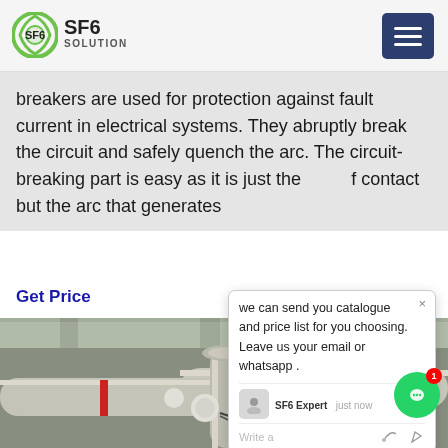SF6 SOLUTION
breakers are used for protection against fault current in electrical systems. They abruptly break the circuit and safely quench the arc. The circuit-breaking part is easy as it is just the [separation] of contact but the arc that generates
Get Price
we can send you catalogue and price list for you choosing.
Leave us your email or whatsapp .
SF6 Expert   just now
Write a
[Figure (photo): Industrial SF6 gas-insulated equipment with large pipe assemblies, flanges, valves, and fittings in an industrial building interior]